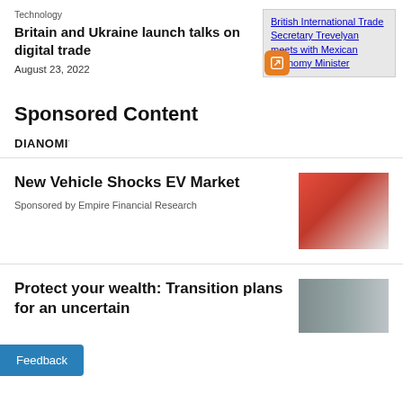Technology
Britain and Ukraine launch talks on digital trade
August 23, 2022
[Figure (screenshot): Link preview thumbnail showing 'British International Secretary Trevelyan meets with Mexican Economy Minister' with orange icon overlay]
Sponsored Content
Dianomi
New Vehicle Shocks EV Market
Sponsored by Empire Financial Research
[Figure (photo): Red electric vehicle charging connector plugged in]
Protect your wealth: Transition plans for an uncertain
[Figure (photo): People in an office or building interior]
Feedback